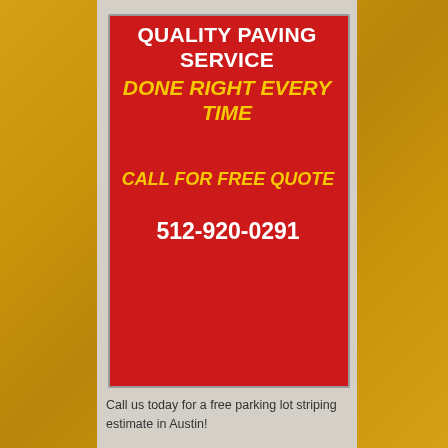[Figure (infographic): Red banner advertisement for Quality Paving Service with yellow gold textured border background, showing headline text, phone number, and call-to-action]
QUALITY PAVING SERVICE
DONE RIGHT EVERY TIME
CALL FOR FREE QUOTE
512-920-0291
Call us today for a free parking lot striping estimate in Austin!
GET A QUICK QUOTE
TAP TO CALL
Call Today for a Free Quote